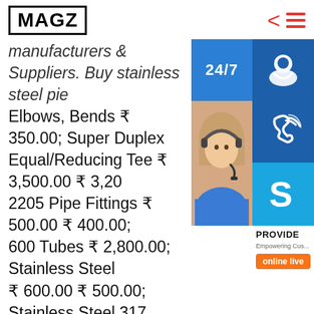MAGZ
manufacturers & Suppliers. Buy Stainless Steel Pipe Elbows, Bends ₹ 350.00; Super Duplex Equal/Reducing Tee ₹ 3,500.00 ₹ 3,200; 2205 Pipe Fittings ₹ 500.00 ₹ 400.00; 600 Tubes ₹ 2,800.00; Stainless Steel ₹ 600.00 ₹ 500.00; Stainless Steel 317 Eccentric/Concentric Reducer ₹ 600.00; Stainless Steel 304 Elbows, Bends ₹ 3… stainless steel glass fittings by Geeth… Delhi With immense knowledge and expertise in this domain, we have made our position in the domestic market by providing stainless steel glass f…s. At the initial stages of sourcing raw material and other inputs, we sternly check for the
[Figure (infographic): 24/7 support widget with headset icon, phone icon, photo of customer service agent, Skype icon, PROVIDE Empowering Customers text, and online live button]